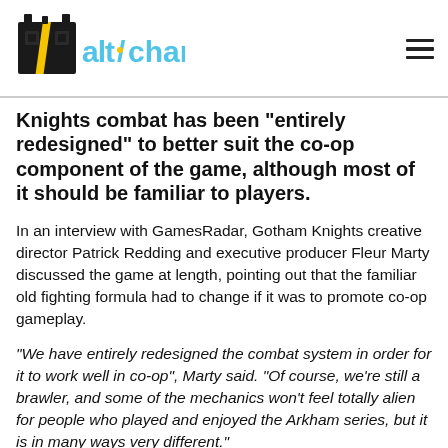AltChar
Knights combat has been "entirely redesigned" to better suit the co-op component of the game, although most of it should be familiar to players.
In an interview with GamesRadar, Gotham Knights creative director Patrick Redding and executive producer Fleur Marty discussed the game at length, pointing out that the familiar old fighting formula had to change if it was to promote co-op gameplay.
"We have entirely redesigned the combat system in order for it to work well in co-op", Marty said. "Of course, we're still a brawler, and some of the mechanics won't feel totally alien for people who played and enjoyed the Arkham series, but it is in many ways very different."